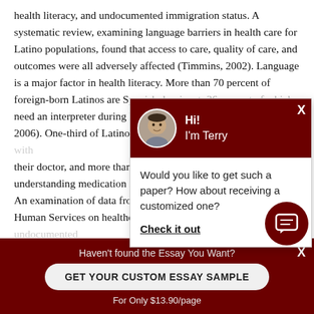health literacy, and undocumented immigration status. A systematic review, examining language barriers in health care for Latino populations, found that access to care, quality of care, and outcomes were all adversely affected (Timmins, 2002). Language is a major factor in health literacy. More than 70 percent of foreign-born Latinos are Spanish dominant, 36 percent of which need an interpreter during health care visits (Flores & Marquez, 2006). One-third of Latinos have limited ability to communicate with their doctor, and more than 60 percent have problems understanding medication instructions (Flores & Marquez, 2006). An examination of data from the Department of Health and Human Services on healthcare expenditures found that undocumented immigrants spend disproportionately less per year than legal and naturalized immigrants ($636 per person per year), compared to an average of $1,385 for U.S. natives.
[Figure (screenshot): Chat popup overlay with avatar photo of Terry, greeting 'Hi! I'm Terry', message 'Would you like to get such a paper? How about receiving a customized one?' and 'Check it out' link]
[Figure (screenshot): Bottom dark red banner with text 'Haven't found the Essay You Want?', button 'GET YOUR CUSTOM ESSAY SAMPLE', and 'For Only $13.90/page']